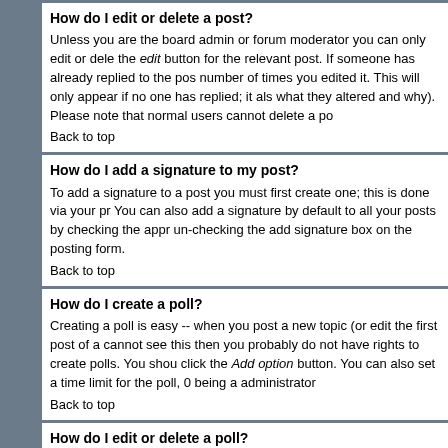How do I edit or delete a post?
Unless you are the board admin or forum moderator you can only edit or delete the edit button for the relevant post. If someone has already replied to the post, number of times you edited it. This will only appear if no one has replied; it also what they altered and why). Please note that normal users cannot delete a po
Back to top
How do I add a signature to my post?
To add a signature to a post you must first create one; this is done via your pr You can also add a signature by default to all your posts by checking the appr un-checking the add signature box on the posting form.
Back to top
How do I create a poll?
Creating a poll is easy -- when you post a new topic (or edit the first post of a cannot see this then you probably do not have rights to create polls. You shou click the Add option button. You can also set a time limit for the poll, 0 being a administrator
Back to top
How do I edit or delete a poll?
As with posts, polls can only be edited by the original poster, a moderator, or b with it. If no one has cast a vote then users can delete the poll or edit any poll delete it; this is to prevent people rigging polls by changing options mid-way th
Back to top
Why can't I access a forum?
Some forums may be limited to certain users or groups. To view, read, post, e